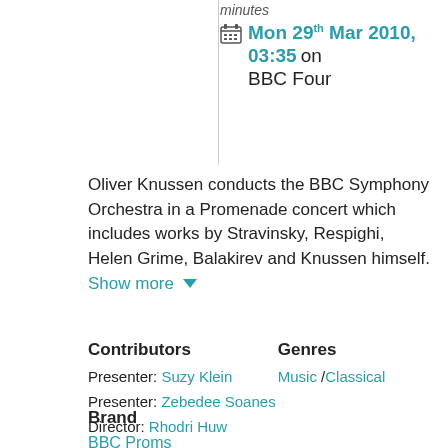minutes
Mon 29th Mar 2010, 03:35 on BBC Four
Oliver Knussen conducts the BBC Symphony Orchestra in a Promenade concert which includes works by Stravinsky, Respighi, Helen Grime, Balakirev and Knussen himself. Show more
Contributors
Genres
Presenter: Suzy Klein
Music / Classical
Presenter: Zebedee Soanes
Director: Rhodri Huw
Brand
BBC Proms
Series
BBC Proms: 2009